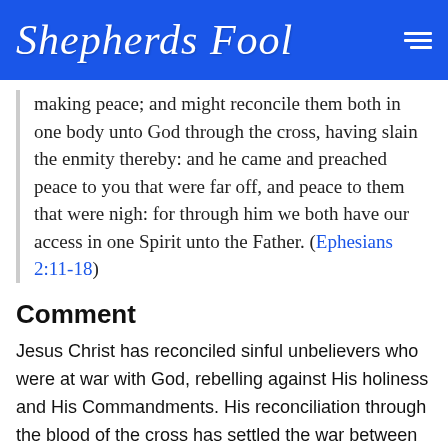Shepherds Fool
making peace;  and might reconcile them both in one body unto God through the cross, having slain the enmity thereby: and he came and preached peace to you that were far off, and peace to them that were nigh: for through him we both have our access in one Spirit unto the Father. (Ephesians 2:11-18)
Comment
Jesus Christ has reconciled sinful unbelievers who were at war with God, rebelling against His holiness and His Commandments. His reconciliation through the blood of the cross has settled the war between a person and God. Jesus has drawn the elect into the spiritual realm of the Father. He has the elect to send Him as one all-holiness...